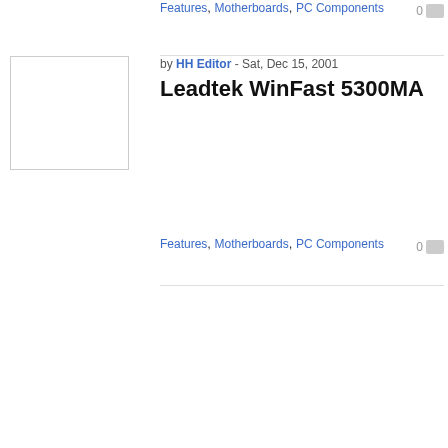Features, Motherboards, PC Components
[Figure (photo): Blank white thumbnail image placeholder with grey border]
by HH Editor - Sat, Dec 15, 2001
Leadtek WinFast 5300MA
Features, Motherboards, PC Components